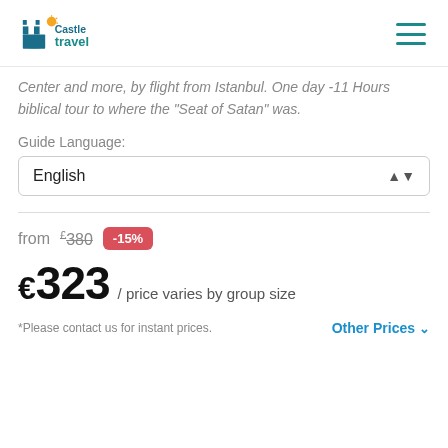Castle Travel
Center and more, by flight from Istanbul. One day -11 Hours biblical tour to where the "Seat of Satan" was.
Guide Language:
English
from £380 -15%
€323 / price varies by group size
*Please contact us for instant prices.
Other Prices